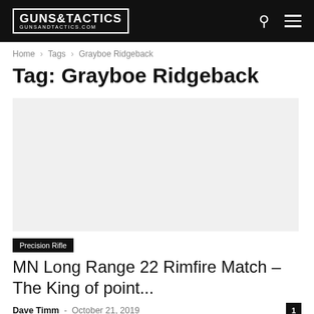GUNS&TACTICS GUNSANDTACTICS.COM
Home › Tags › Grayboe Ridgeback
Tag: Grayboe Ridgeback
[Figure (photo): Article thumbnail image placeholder (light gray)]
Precision Rifle
MN Long Range 22 Rimfire Match – The King of point...
Dave Timm  ·  October 21, 2019   1